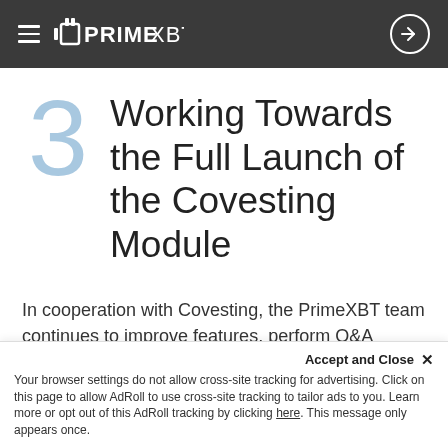PrimeXBT
3 Working Towards the Full Launch of the Covesting Module
In cooperation with Covesting, the PrimeXBT team continues to improve features, perform Q&A testing, and work to stabilize performance. Currently, the beta is limited only to creating a Fund, managing positions and other features related to the fund on covesting...
Accept and Close ✕ Your browser settings do not allow cross-site tracking for advertising. Click on this page to allow AdRoll to use cross-site tracking to tailor ads to you. Learn more or opt out of this AdRoll tracking by clicking here. This message only appears once.